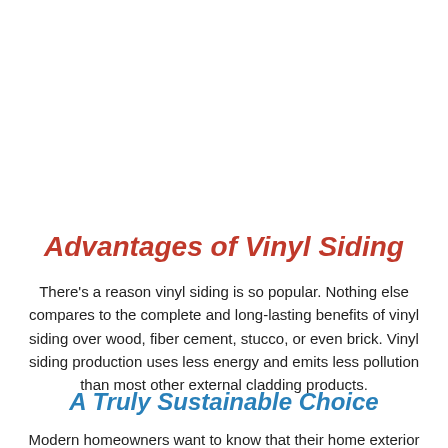Advantages of Vinyl Siding
There's a reason vinyl siding is so popular. Nothing else compares to the complete and long-lasting benefits of vinyl siding over wood, fiber cement, stucco, or even brick. Vinyl siding production uses less energy and emits less pollution than most other external cladding products.
A Truly Sustainable Choice
Modern homeowners want to know that their home exterior